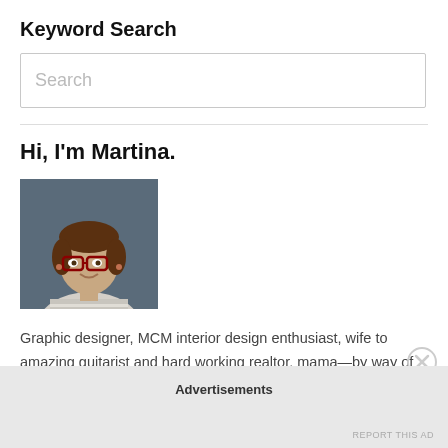Keyword Search
Search
Hi, I'm Martina.
[Figure (photo): Headshot of a woman with glasses and brown hair smiling, wearing a striped top, against a dark blue-grey background]
Graphic designer, MCM interior design enthusiast, wife to amazing guitarist and hard working realtor, mama—by way of foster care, adoption and biology—and follower of Jesus Christ.
Advertisements